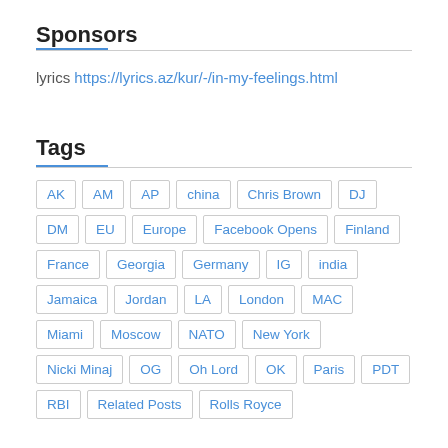Sponsors
lyrics https://lyrics.az/kur/-/in-my-feelings.html
Tags
AK
AM
AP
china
Chris Brown
DJ
DM
EU
Europe
Facebook Opens
Finland
France
Georgia
Germany
IG
india
Jamaica
Jordan
LA
London
MAC
Miami
Moscow
NATO
New York
Nicki Minaj
OG
Oh Lord
OK
Paris
PDT
RBI
Related Posts
Rolls Royce